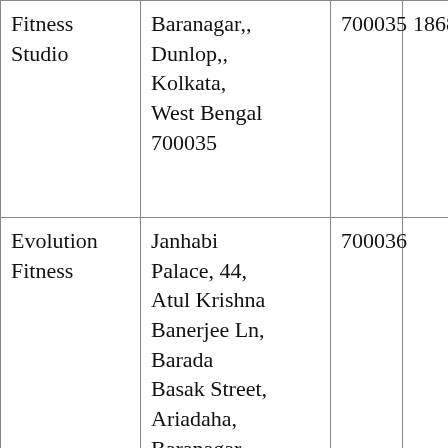| Fitness Studio | Baranagar,, Dunlop,, Kolkata, West Bengal 700035 | 700035 | 18685 |
| Evolution Fitness | Janhabi Palace, 44, Atul Krishna Banerjee Ln, Barada Basak Street, Ariadaha, Baranagar, | 700036 |  |